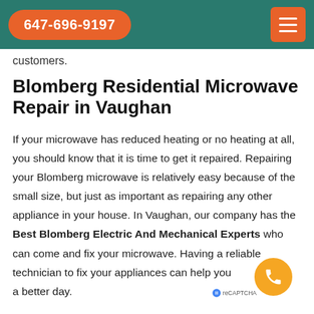647-696-9197
customers.
Blomberg Residential Microwave Repair in Vaughan
If your microwave has reduced heating or no heating at all, you should know that it is time to get it repaired. Repairing your Blomberg microwave is relatively easy because of the small size, but just as important as repairing any other appliance in your house. In Vaughan, our company has the Best Blomberg Electric And Mechanical Experts who can come and fix your microwave. Having a reliable technician to fix your appliances can help you a better day.